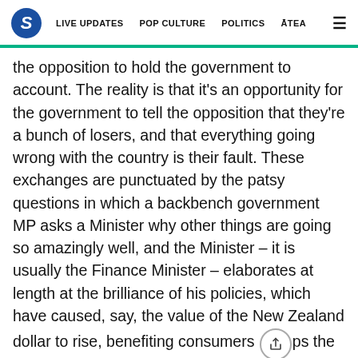S | LIVE UPDATES | POP CULTURE | POLITICS | ĀTEA
the opposition to hold the government to account. The reality is that it's an opportunity for the government to tell the opposition that they're a bunch of losers, and that everything going wrong with the country is their fault. These exchanges are punctuated by the patsy questions in which a backbench government MP asks a Minister why other things are going so amazingly well, and the Minister – it is usually the Finance Minister – elaborates at length at the brilliance of his policies, which have caused, say, the value of the New Zealand dollar to rise, benefiting consumers ([share icon]ps the next day it will fall, benefiting exporters, also due to the Minister's genius, or